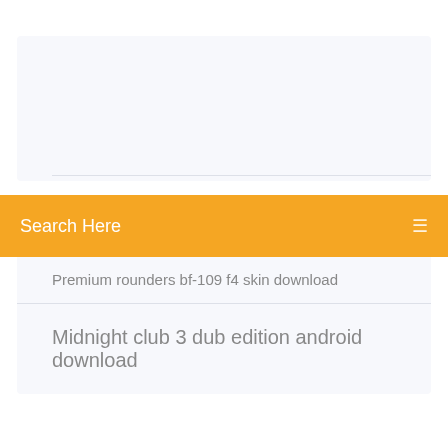Category
Search Here
Premium rounders bf-109 f4 skin download
Midnight club 3 dub edition android download